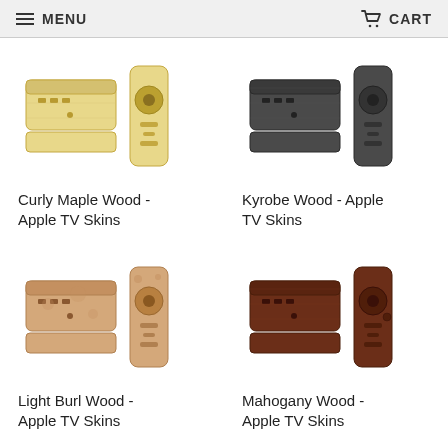MENU   CART
[Figure (photo): Curly Maple Wood Apple TV skin set showing device and remote covered in light maple wood grain texture]
Curly Maple Wood - Apple TV Skins
[Figure (photo): Kyrobe Wood Apple TV skin set showing device and remote in dark charcoal/black wood texture]
Kyrobe Wood - Apple TV Skins
[Figure (photo): Light Burl Wood Apple TV skin set showing device and remote in light burl wood texture]
Light Burl Wood - Apple TV Skins
[Figure (photo): Mahogany Wood Apple TV skin set showing device and remote in dark mahogany wood texture]
Mahogany Wood - Apple TV Skins
OTHER TOP RATED PRODUCT